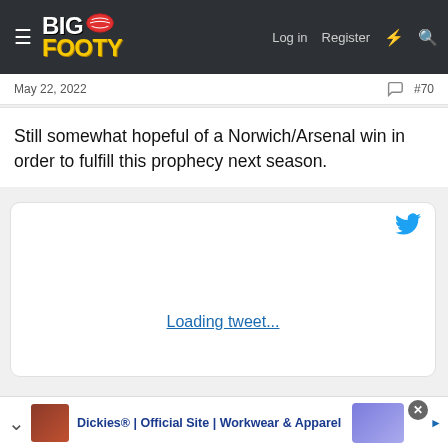[Figure (screenshot): BigFooty website header with logo, hamburger menu, Log in, Register, lightning bolt, and search icons on dark background]
May 22, 2022
#70
Still somewhat hopeful of a Norwich/Arsenal win in order to fulfill this prophecy next season.
[Figure (screenshot): Embedded tweet placeholder showing Twitter bird icon and 'Loading tweet...' link text]
Dickies® | Official Site | Workwear & Apparel